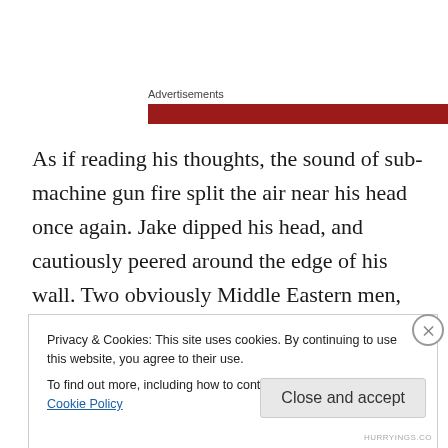Advertisements
[Figure (other): Red advertisement banner bar]
As if reading his thoughts, the sound of sub-machine gun fire split the air near his head once again. Jake dipped his head, and cautiously peered around the edge of his wall. Two obviously Middle Eastern men, heads draped in simple red turbans, were crouched behind another wall a few metres in front of him, both holding weapons perched
Privacy & Cookies: This site uses cookies. By continuing to use this website, you agree to their use.
To find out more, including how to control cookies, see here: Cookie Policy
Close and accept